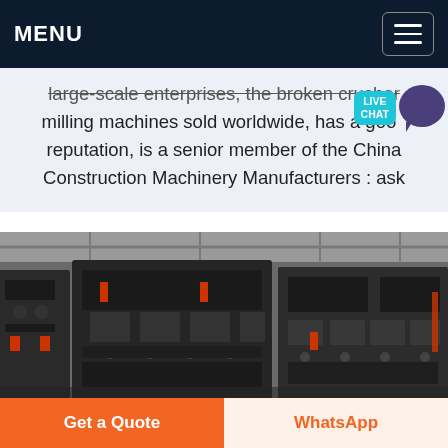MENU
large-scale enterprises, the broken crusher milling machines sold worldwide, has a good reputation, is a senior member of the China Construction Machinery Manufacturers : ask
[Figure (photo): Industrial machinery/crusher equipment on a factory floor, large dark metal machines with bolts and red components, in a warehouse setting.]
Get a Quote
WhatsApp